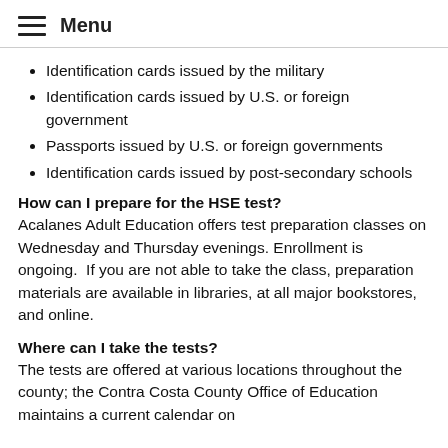Menu
Identification cards issued by the military
Identification cards issued by U.S. or foreign government
Passports issued by U.S. or foreign governments
Identification cards issued by post-secondary schools
How can I prepare for the HSE test?
Acalanes Adult Education offers test preparation classes on Wednesday and Thursday evenings. Enrollment is ongoing.  If you are not able to take the class, preparation materials are available in libraries, at all major bookstores, and online.
Where can I take the tests?
The tests are offered at various locations throughout the county; the Contra Costa County Office of Education maintains a current calendar on the website about High School Equivalency Testing...